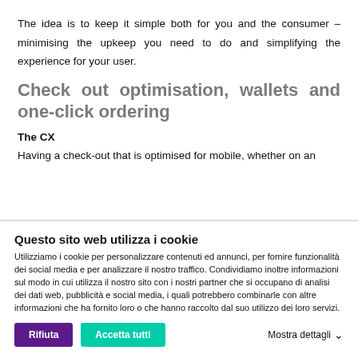The idea is to keep it simple both for you and the consumer – minimising the upkeep you need to do and simplifying the experience for your user.
Check out optimisation, wallets and one-click ordering
The CX
Having a check-out that is optimised for mobile, whether on an
Questo sito web utilizza i cookie
Utilizziamo i cookie per personalizzare contenuti ed annunci, per fornire funzionalità dei social media e per analizzare il nostro traffico. Condividiamo inoltre informazioni sul modo in cui utilizza il nostro sito con i nostri partner che si occupano di analisi dei dati web, pubblicità e social media, i quali potrebbero combinarle con altre informazioni che ha fornito loro o che hanno raccolto dal suo utilizzo dei loro servizi.
Rifiuta
Accetta tutti
Mostra dettagli